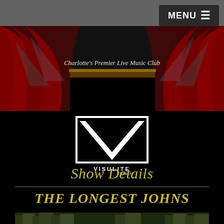MENU
[Figure (photo): Theatre stage with red curtains, spotlights, and decorative golden stage frame. Text reads Charlotte's Premier Live Music Club in italic white lettering.]
[Figure (logo): Visulite Theatre logo — white square with black V shape and text VISULITE Theatre]
Show Details
THE LONGEST JOHNS
[Figure (photo): Outdoor forest/nature photo strip at bottom of page]